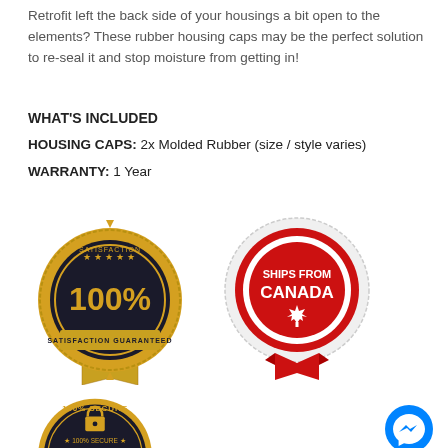Retrofit left the back side of your housings a bit open to the elements? These rubber housing caps may be the perfect solution to re-seal it and stop moisture from getting in!
WHAT'S INCLUDED
HOUSING CAPS: 2x Molded Rubber (size / style varies)
WARRANTY: 1 Year
[Figure (logo): Gold satisfaction guaranteed seal badge with 100% text and ribbon]
[Figure (logo): Ships from Canada circular badge with red maple leaf and ribbon]
[Figure (logo): 100% Secure gold seal badge with padlock]
[Figure (logo): Blue Facebook Messenger button icon]